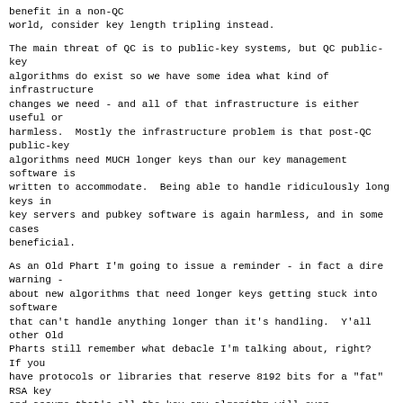benefit in a non-QC
world, consider key length tripling instead.

The main threat of QC is to public-key systems, but QC public-key
algorithms do exist so we have some idea what kind of infrastructure
changes we need - and all of that infrastructure is either useful or
harmless.  Mostly the infrastructure problem is that post-QC public-key
algorithms need MUCH longer keys than our key management software is
written to accommodate.  Being able to handle ridiculously long keys in
key servers and pubkey software is again harmless, and in some cases
beneficial.

As an Old Phart I'm going to issue a reminder - in fact a dire warning -
about new algorithms that need longer keys getting stuck into software
that can't handle anything longer than it's handling.  Y'all other Old
Pharts still remember what debacle I'm talking about, right?  If you
have protocols or libraries that reserve 8192 bits for a "fat" RSA key
and assume that's all the key any algorithm will ever